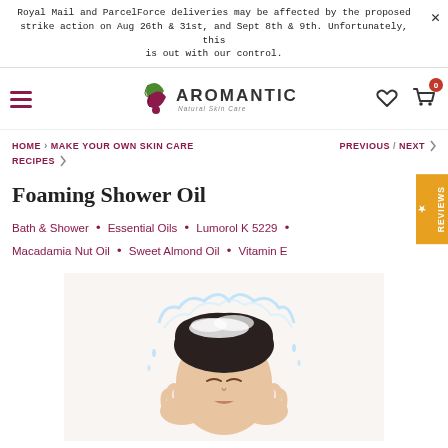Royal Mail and ParcelForce deliveries may be affected by the proposed strike action on Aug 26th & 31st, and Sept 8th & 9th. Unfortunately, this is out with our control.
[Figure (logo): Aromantic Natural Skin Care logo with green leaf and stylized 'a' mark]
HOME / MAKE YOUR OWN SKIN CARE / PREVIOUS / NEXT RECIPES
Foaming Shower Oil
Bath & Shower • Essential Oils • Lumorol K 5229 • Macadamia Nut Oil • Sweet Almond Oil • Vitamin E
[Figure (photo): Person washing face with water and foam, eyes closed, water splashing over head]